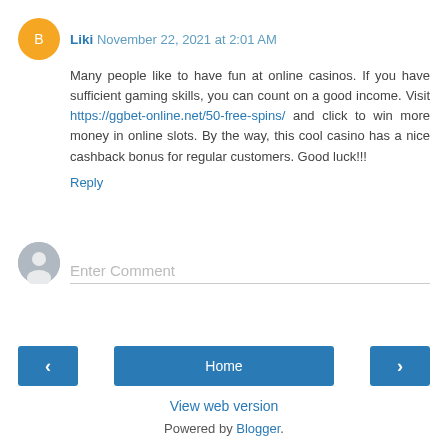Liki November 22, 2021 at 2:01 AM
Many people like to have fun at online casinos. If you have sufficient gaming skills, you can count on a good income. Visit https://ggbet-online.net/50-free-spins/ and click to win more money in online slots. By the way, this cool casino has a nice cashback bonus for regular customers. Good luck!!!
Reply
Enter Comment
Home
View web version
Powered by Blogger.